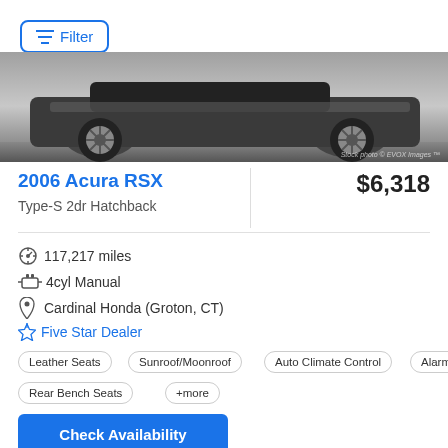Filter
[Figure (photo): Partial view of a 2006 Acura RSX car showing the lower side profile with wheels, silver/grey color. Stock photo watermark by EVOX Images visible in bottom right.]
2006 Acura RSX
Type-S 2dr Hatchback
$6,318
117,217 miles
4cyl Manual
Cardinal Honda (Groton, CT)
Five Star Dealer
Leather Seats
Sunroof/Moonroof
Auto Climate Control
Alarm
Rear Bench Seats
+more
Check Availability